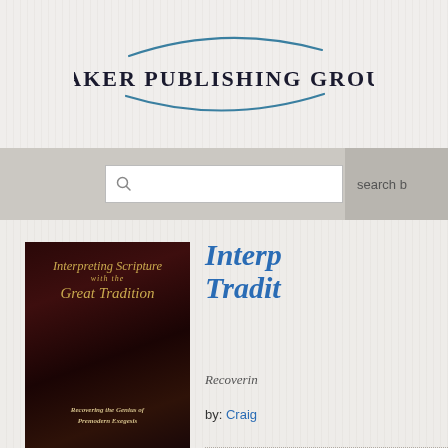[Figure (logo): Baker Publishing Group logo with teal oval swoosh and serif bold text]
[Figure (screenshot): Search bar with magnifying glass icon and 'search b' text visible on right]
[Figure (photo): Book cover of 'Interpreting Scripture with the Great Tradition: Recovering the Genius of Premodern Exegesis' with dark red/brown background and gold text]
Interpreting Scripture with the Great Tradition
Recovering the Genius of Premodern Exegesis
by: Craig